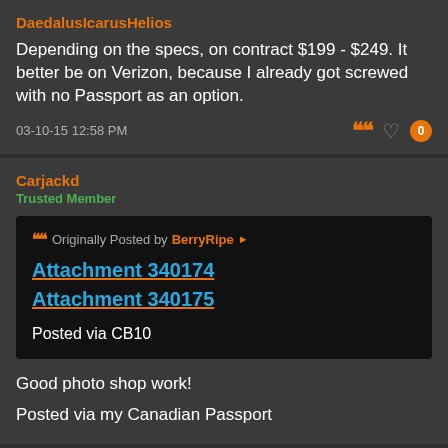DaedalusIcarusHelios
Depending on the specs, on contract $199 - $249. It better be on Verizon, because I already got screwed with no Passport as an option.
03-10-15 12:58 PM
Carjackd
Trusted Member
Originally Posted by BerryRipe
Attachment 340174
Attachment 340175
Posted via CB10
Good photo shop work!
Posted via my Canadian Passport